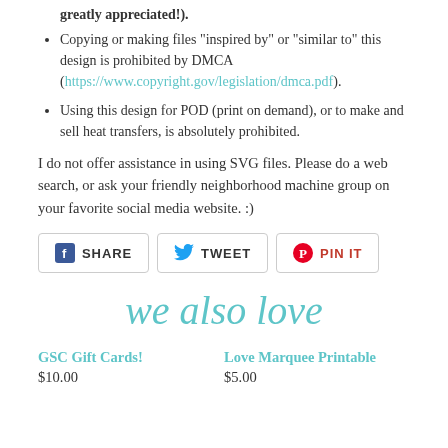greatly appreciated!).
Copying or making files "inspired by" or "similar to" this design is prohibited by DMCA (https://www.copyright.gov/legislation/dmca.pdf).
Using this design for POD (print on demand), or to make and sell heat transfers, is absolutely prohibited.
I do not offer assistance in using SVG files. Please do a web search, or ask your friendly neighborhood machine group on your favorite social media website. :)
[Figure (infographic): Social share buttons: SHARE (Facebook), TWEET (Twitter), PIN IT (Pinterest)]
we also love
GSC Gift Cards!
$10.00
Love Marquee Printable
$5.00